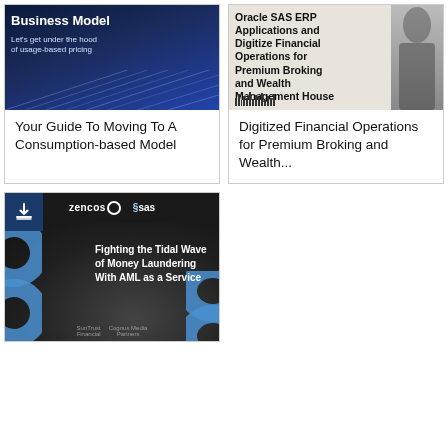[Figure (photo): Book cover for 'Business Model: Your Guide To Moving To A Consumption-based Model' with dark blue background and text about usage-based pricing]
Your Guide To Moving To A Consumption-based Model
[Figure (photo): Book cover for 'Digitize Financial Operations for Premium Broking and Wealth Management House' using Oracle SAS ERP Applications, with white background and portrait photo]
Digitized Financial Operations for Premium Broking and Wealth...
[Figure (photo): Zencos and SAS branded whitepaper cover: 'Fighting the Tidal Wave of Money Laundering With AML as a Service', dark background with blue circles and hands on keyboard]